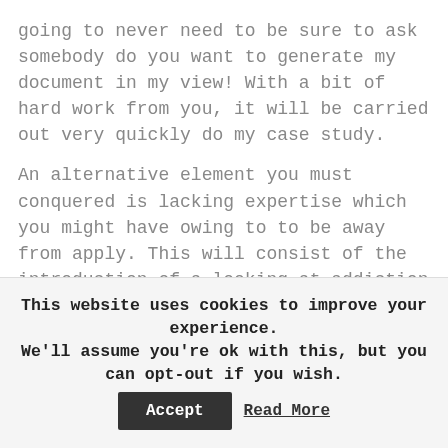going to never need to be sure to ask somebody do you want to generate my document in my view! With a bit of hard work from you, it will be carried out very quickly do my case study.
An alternative element you must conquered is lacking expertise which you might have owing to to be away from apply. This will consist of the introduction of a looking at addiction which will help you ultimately on top of that. If your practical knowledge accelerates with a rise case study paper in your studying, you could almost discussion and dispute on a great deal of information that can sound slightly complex to
This website uses cookies to improve your experience. We'll assume you're ok with this, but you can opt-out if you wish. Accept Read More